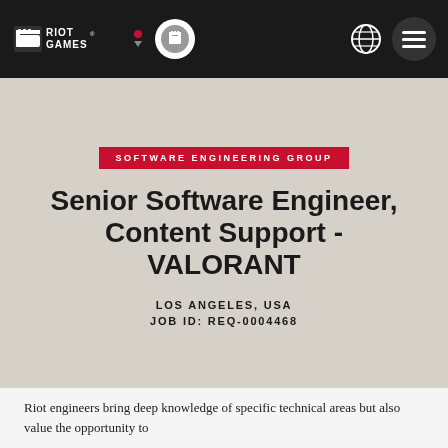Riot Games — Navigation bar with Riot Games logo, Valorant icon, globe icon, and menu button
SOFTWARE ENGINEERING GROUP
Senior Software Engineer, Content Support - VALORANT
LOS ANGELES, USA
JOB ID: REQ-0004468
Riot engineers bring deep knowledge of specific technical areas but also value the opportunity to work in many broader domains. As a Senior